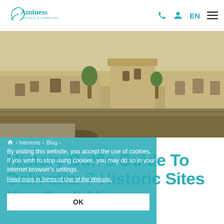[Figure (logo): Aminess Hotels & Campsites logo in teal/cyan]
EN ≡
[Figure (photo): Dalmatian coastal historic stone walls and tower, warm golden tones]
🏠 > Interests > Blog >
By visiting this website, you accept the use of cookies.
If you wish to stop using cookies, you may do so in your internet browser's settings.
Read more in Terms of Use of the Website.
OK
History Buff's Guide To Dalmatia: 7 Historic Sites You Can't Miss